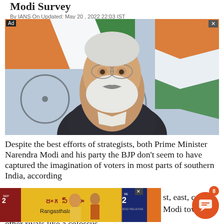Modi Survey
By IANS On Updated: May 20 , 2022 22:03 IST
[Figure (photo): Photo of Prime Minister Narendra Modi speaking in front of Indian flags, shown from chest up, wearing a dark sleeveless jacket over white shirt, with white beard and glasses.]
Despite the best efforts of strategists, both Prime Minister Narendra Modi and his party the BJP don't seem to have captured the imagination of voters in most parts of southern India, according
[Figure (photo): Advertisement banner showing a Telugu movie 'Rangasthalam' / 'Rangamma Manga' promotional poster with actors, and a 'Sep 2' release badge.]
st, east, central Modi towers over other rivals like a colossus.